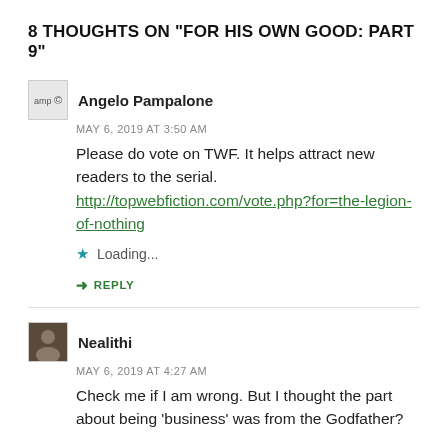8 THOUGHTS ON "FOR HIS OWN GOOD: PART 9"
Angelo Pampalone
MAY 6, 2019 AT 3:50 AM
Please do vote on TWF. It helps attract new readers to the serial.
http://topwebfiction.com/vote.php?for=the-legion-of-nothing
Loading...
REPLY
Nealithi
MAY 6, 2019 AT 4:27 AM
Check me if I am wrong. But I thought the part about being 'business' was from the Godfather?